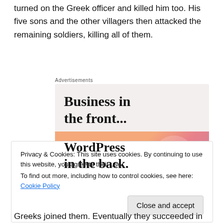turned on the Greek officer and killed him too. His five sons and the other villagers then attacked the remaining soldiers, killing all of them.
[Figure (screenshot): Advertisement banner showing 'Business in the front... WordPress in the back.' with a light beige top section and colorful gradient bottom section (orange, pink, mauve).]
Privacy & Cookies: This site uses cookies. By continuing to use this website, you agree to their use.
To find out more, including how to control cookies, see here: Cookie Policy
Close and accept
Greeks joined them. Eventually they succeeded in